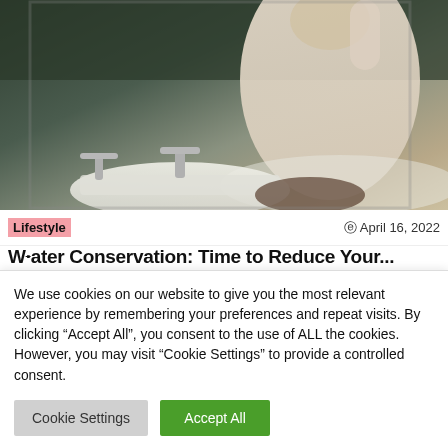[Figure (photo): A person in a white shirt leaning over a vintage bathroom sink with chrome faucets, viewed in a mirror reflection. The bathroom has dark walls and a clawfoot bathtub visible in the background.]
Lifestyle   © April 16, 2022
Water Conservation: Time to Reduce Your...
We use cookies on our website to give you the most relevant experience by remembering your preferences and repeat visits. By clicking "Accept All", you consent to the use of ALL the cookies. However, you may visit "Cookie Settings" to provide a controlled consent.
Cookie Settings   Accept All